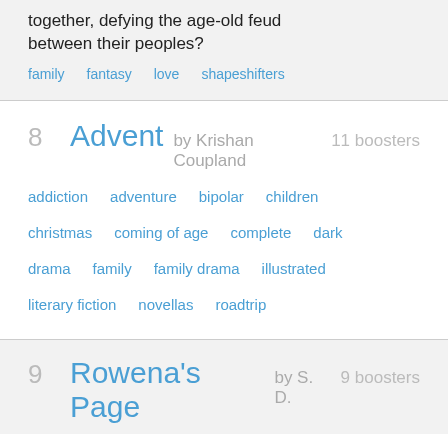together, defying the age-old feud between their peoples?
family   fantasy   love   shapeshifters
8   Advent by Krishan Coupland   11 boosters
addiction   adventure   bipolar   children   christmas   coming of age   complete   dark   drama   family   family drama   illustrated   literary fiction   novellas   roadtrip
9   Rowena's Page by S. D.   9 boosters